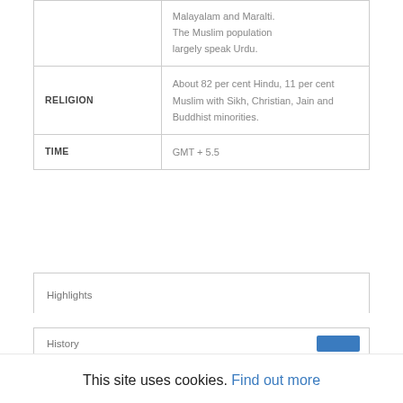|  | Malayalam and Maralti. The Muslim population largely speak Urdu. |
| RELIGION | About 82 per cent Hindu, 11 per cent Muslim with Sikh, Christian, Jain and Buddhist minorities. |
| TIME | GMT + 5.5 |
Highlights
History
This site uses cookies. Find out more